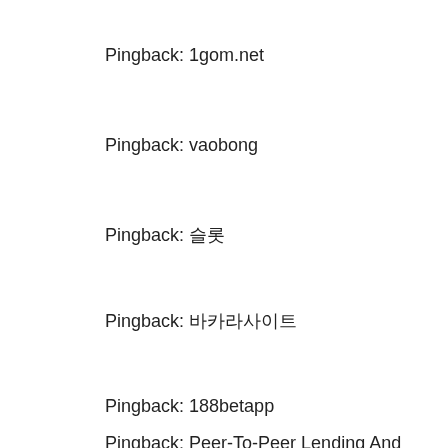Pingback: 1gom.net
Pingback: vaobong
Pingback: 슬롯
Pingback: 바카라사이트
Pingback: 188betapp
Pingback: Peer-To-Peer Lending And Borrowing